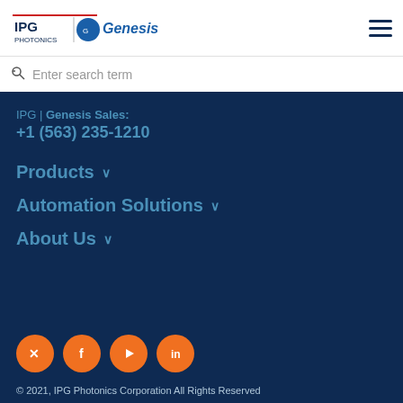[Figure (logo): IPG Photonics and Genesis combined logo in the top white navigation bar]
[Figure (other): Hamburger menu icon (three horizontal lines) in top right corner]
Enter search term
IPG | Genesis Sales:
+1 (563) 235-1210
Products
Automation Solutions
About Us
[Figure (other): Social media icons row: Twitter, Facebook, YouTube, LinkedIn - orange circles with white icons]
© 2021, IPG Photonics Corporation All Rights Reserved